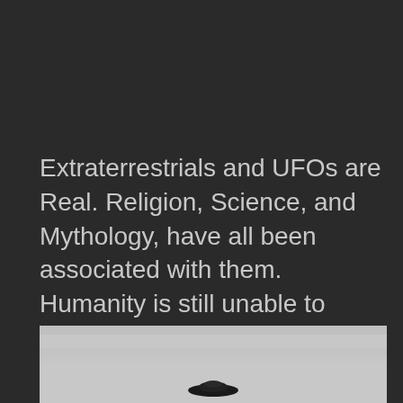Extraterrestrials and UFOs are Real. Religion, Science, and Mythology, have all been associated with them. Humanity is still unable to replicate the abilities demonstrated by them. We are Their Experiment, and there is no other conclusion, because they could enslave or destroy US at Will.
[Figure (photo): Black and white photograph showing an overcast sky with a dark flying saucer / UFO shape visible near the bottom center of the image.]